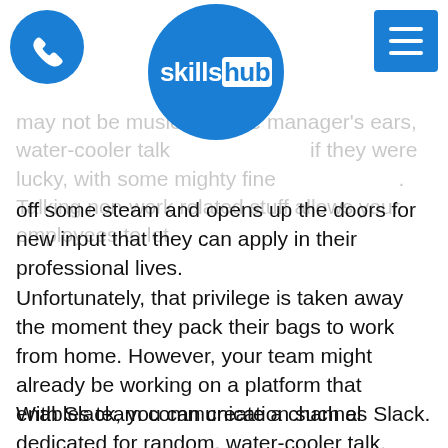skillshub
may not be music to some manager's ears, water-cooler talk at the office, if they were lucky, with some mighty fine colleagues. Talking non-work related stuff allows your employees to let off some steam and opens up the doors for new input that they can apply in their professional lives.
Unfortunately, that privilege is taken away the moment they pack their bags to work from home. However, your team might already be working on a platform that enables team communication such as Slack.
With Slack, you can create a channel dedicated for random, water-cooler talk.
This prevents your employees from spamming work channels with unrelated topics as well as providing an outlet for them to joke around and talk about the weather. Pet pictures are a great topic starter as well!